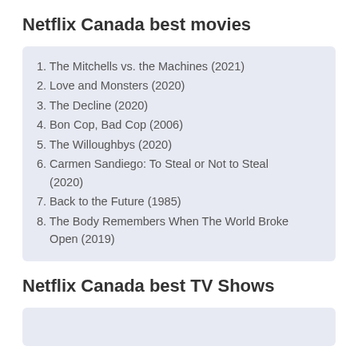Netflix Canada best movies
1. The Mitchells vs. the Machines (2021)
2. Love and Monsters (2020)
3. The Decline (2020)
4. Bon Cop, Bad Cop (2006)
5. The Willoughbys (2020)
6. Carmen Sandiego: To Steal or Not to Steal (2020)
7. Back to the Future (1985)
8. The Body Remembers When The World Broke Open (2019)
Netflix Canada best TV Shows